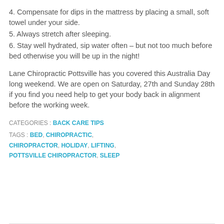4. Compensate for dips in the mattress by placing a small, soft towel under your side.
5. Always stretch after sleeping.
6. Stay well hydrated, sip water often – but not too much before bed otherwise you will be up in the night!
Lane Chiropractic Pottsville has you covered this Australia Day long weekend. We are open on Saturday, 27th and Sunday 28th if you find you need help to get your body back in alignment before the working week.
CATEGORIES : BACK CARE TIPS
TAGS : BED, CHIROPRACTIC, CHIROPRACTOR, HOLIDAY, LIFTING, POTTSVILLE CHIROPRACTOR, SLEEP